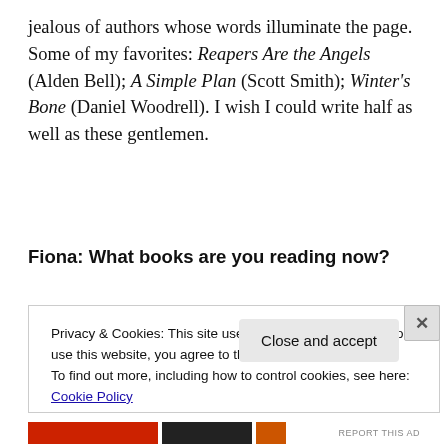jealous of authors whose words illuminate the page. Some of my favorites: Reapers Are the Angels (Alden Bell); A Simple Plan (Scott Smith); Winter's Bone (Daniel Woodrell). I wish I could write half as well as these gentlemen.
Fiona: What books are you reading now?
Privacy & Cookies: This site uses cookies. By continuing to use this website, you agree to their use. To find out more, including how to control cookies, see here: Cookie Policy